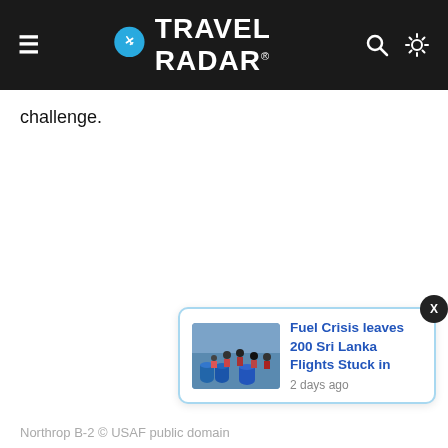Travel Radar
challenge.
[Figure (screenshot): Notification card showing article: 'Fuel Crisis leaves 200 Sri Lanka Flights Stuck in' with thumbnail image and '2 days ago' timestamp]
Northrop B-2 © USAF public domain